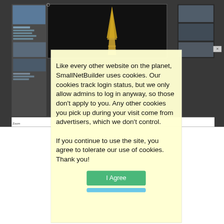[Figure (screenshot): Browser screenshot showing a web page with an Eiffel Tower image being edited, with a dark background. Related Articles section visible in the background with links including 'Seagate Announces Cloud-based USB Drive Network Adapter', 'Pogoplug to Get New Streaming and File Copy Features', 'Pogoplug Switches Get iadte the Dots Sortware Podasts', 'You Don't Need No Ste... Pogoplug Hardware Anymore!']
Like every other website on the planet, SmallNetBuilder uses cookies. Our cookies track login status, but we only allow admins to log in anyway, so those don't apply to you. Any other cookies you pick up during your visit come from advertisers, which we don't control.
If you continue to use the site, you agree to tolerate our use of cookies. Thank you!
I Agree
Figure ... interface
Unfortunately ... control over the s... ble, change th... iate the images wi... here any image edi... ave to be ready to p... a directory. ... show that